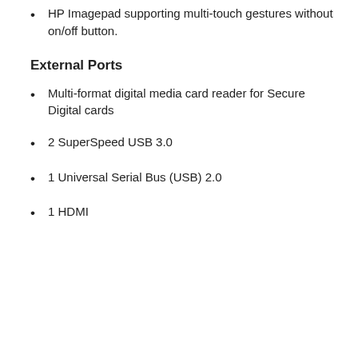HP Imagepad supporting multi-touch gestures without on/off button.
External Ports
Multi-format digital media card reader for Secure Digital cards
2 SuperSpeed USB 3.0
1 Universal Serial Bus (USB) 2.0
1 HDMI